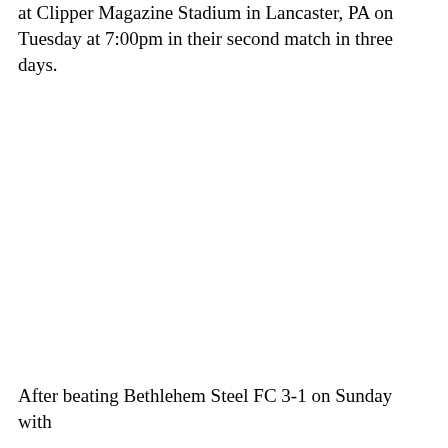at Clipper Magazine Stadium in Lancaster, PA on Tuesday at 7:00pm in their second match in three days.
After beating Bethlehem Steel FC 3-1 on Sunday with